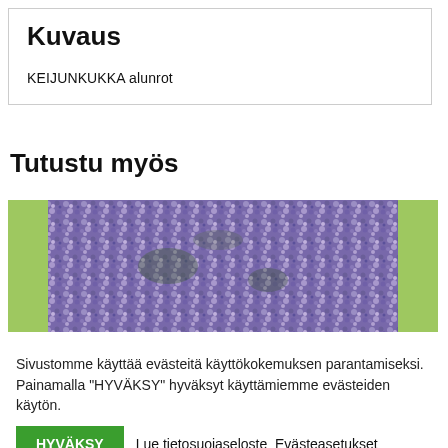Kuvaus
KEIJUNKUKKA alunrot
Tutustu myös
[Figure (photo): Close-up photo of purple/violet small flowers (Keijunkukka, Ageratum) forming a dense mass, with a light green background border on the sides.]
Sivustomme käyttää evästeitä käyttökokemuksen parantamiseksi. Painamalla "HYVÄKSY" hyväksyt käyttämiemme evästeiden käytön.
HYVÄKSY
Lue tietosuojaseloste Evästeasetukset